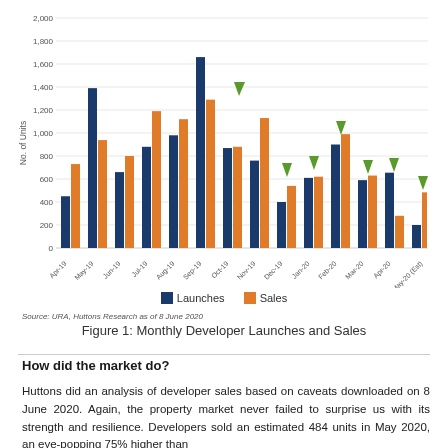[Figure (grouped-bar-chart): Monthly Developer Launches and Sales]
Source: URA, Huttons Research as of 8 June 2020
Figure 1: Monthly Developer Launches and Sales
How did the market do?
Huttons did an analysis of developer sales based on caveats downloaded on 8 June 2020. Again, the property market never failed to surprise us with its strength and resilience. Developers sold an estimated 484 units in May 2020, an eye-popping 75% higher than